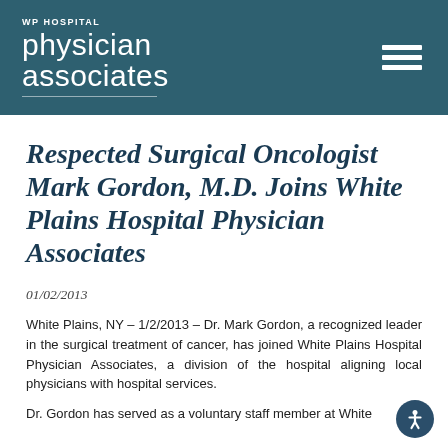[Figure (logo): WP Hospital Physician Associates logo — white text on dark teal header background, with hamburger menu icon on the right]
Respected Surgical Oncologist Mark Gordon, M.D. Joins White Plains Hospital Physician Associates
01/02/2013
White Plains, NY – 1/2/2013 – Dr. Mark Gordon, a recognized leader in the surgical treatment of cancer, has joined White Plains Hospital Physician Associates, a division of the hospital aligning local physicians with hospital services.
Dr. Gordon has served as a voluntary staff member at White